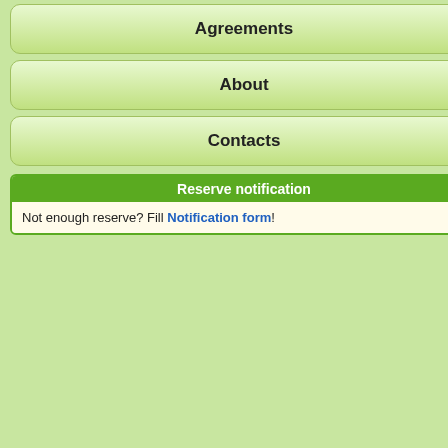Agreements
About
Contacts
Reserve notification
Not enough reserve? Fill Notification form!
Perfect Money EUR
Advcash USD
Advcash EUR
Payeer USD
USDT TRC20 Tron
USDT BEP20 Binance Smart Chain
USDT ERC20 Ethereum
Paxos USDP Ethereum
With esti
SuperChar Cros
Minimum exc